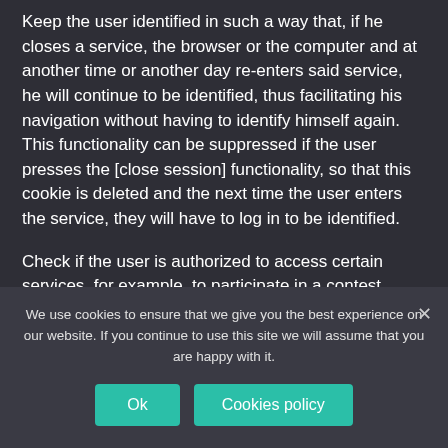Keep the user identified in such a way that, if he closes a service, the browser or the computer and at another time or another day re-enters said service, he will continue to be identified, thus facilitating his navigation without having to identify himself again. This functionality can be suppressed if the user presses the [close session] functionality, so that this cookie is deleted and the next time the user enters the service, they will have to log in to be identified.
Check if the user is authorized to access certain services, for example, to participate in a contest.
Additionally, some services may use connectors with social
We use cookies to ensure that we give you the best experience on our website. If you continue to use this site we will assume that you are happy with it.